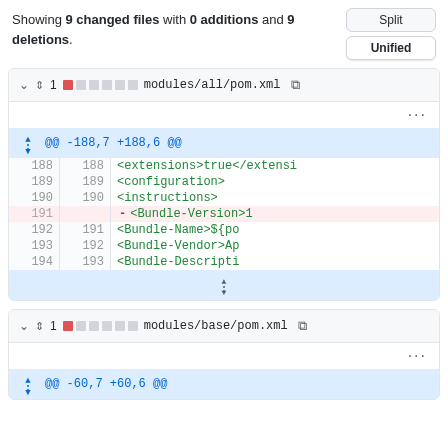Showing 9 changed files with 0 additions and 9 deletions.
Split
Unified
modules/all/pom.xml
@@ -188,7 +188,6 @@
| old ln | new ln | code |
| --- | --- | --- |
| 188 | 188 |             <extensions>true</extensions |
| 189 | 189 |             <configuration> |
| 190 | 190 |               <instructions> |
| 191 |  | - <Bundle-Version>1 |
| 192 | 191 |             <Bundle-Name>${po |
| 193 | 192 |             <Bundle-Vendor>Ap |
| 194 | 193 |             <Bundle-Descripti |
modules/base/pom.xml
@@ -60,7 +60,6 @@